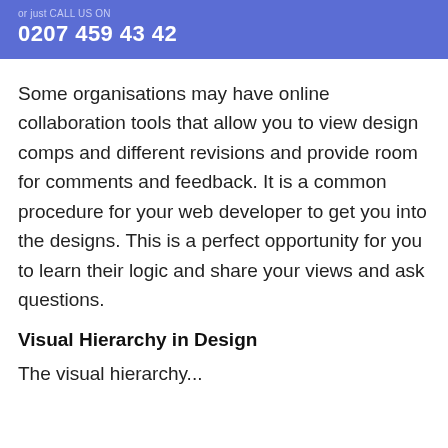or just CALL US ON
0207 459 43 42
Some organisations may have online collaboration tools that allow you to view design comps and different revisions and provide room for comments and feedback. It is a common procedure for your web developer to get you into the designs. This is a perfect opportunity for you to learn their logic and share your views and ask questions.
Visual Hierarchy in Design
The visual hierarchy...